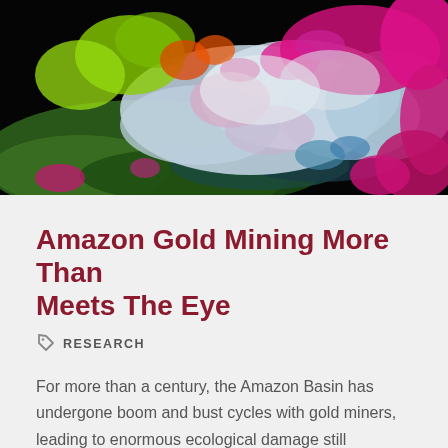[Figure (photo): False-color satellite image of the Amazon Basin showing colorful land cover classifications — pink/magenta areas (likely deforested or bare soil), green (vegetation), red, yellow, white and blue patches representing different land use types.]
Amazon Gold Mining More Than Meets The Eye
RESEARCH
For more than a century, the Amazon Basin has undergone boom and bust cycles with gold miners, leading to enormous ecological damage still observable in regions like eastern Brazil. In this century, however, hotspots of gold mining have emerged in the western Amazon lowlands, in places